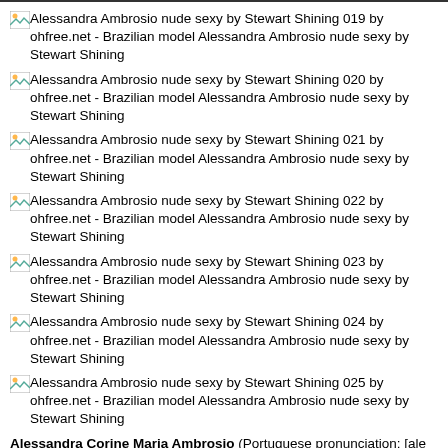[img] Alessandra Ambrosio nude sexy by Stewart Shining 019 by ohfree.net - Brazilian model Alessandra Ambrosio nude sexy by Stewart Shining
[img] Alessandra Ambrosio nude sexy by Stewart Shining 020 by ohfree.net - Brazilian model Alessandra Ambrosio nude sexy by Stewart Shining
[img] Alessandra Ambrosio nude sexy by Stewart Shining 021 by ohfree.net - Brazilian model Alessandra Ambrosio nude sexy by Stewart Shining
[img] Alessandra Ambrosio nude sexy by Stewart Shining 022 by ohfree.net - Brazilian model Alessandra Ambrosio nude sexy by Stewart Shining
[img] Alessandra Ambrosio nude sexy by Stewart Shining 023 by ohfree.net - Brazilian model Alessandra Ambrosio nude sexy by Stewart Shining
[img] Alessandra Ambrosio nude sexy by Stewart Shining 024 by ohfree.net - Brazilian model Alessandra Ambrosio nude sexy by Stewart Shining
[img] Alessandra Ambrosio nude sexy by Stewart Shining 025 by ohfree.net - Brazilian model Alessandra Ambrosio nude sexy by Stewart Shining
Alessandra Corine Maria Ambrosio (Portuguese pronunciation: [aleˈsẽɖɾẽ ẽˈbɹɔzju]; born April 11, 1981) is a Brazilian model and actress. Ambrosio is known for her work with Victoria’s Secret and was chosen